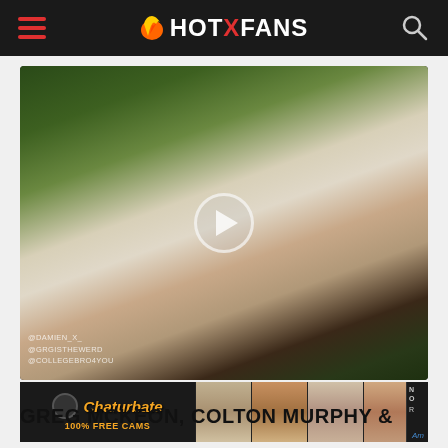HOTXFANS
[Figure (photo): Video thumbnail showing adult content with play button overlay, watermark text @DAMIEN_X_ @GRGISTHEWERD @COLLEGEBRO4YOU]
[Figure (photo): Chaturbate advertisement banner reading '100% FREE CAMS' alongside thumbnail images]
GREG MCKEON, COLTON MURPHY &